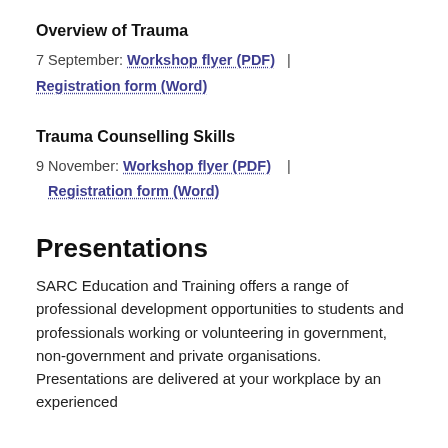Overview of Trauma
7 September: Workshop flyer (PDF)  |  Registration form (Word)
Trauma Counselling Skills
9 November: Workshop flyer (PDF)  |  Registration form (Word)
Presentations
SARC Education and Training offers a range of professional development opportunities to students and professionals working or volunteering in government, non-government and private organisations. Presentations are delivered at your workplace by an experienced